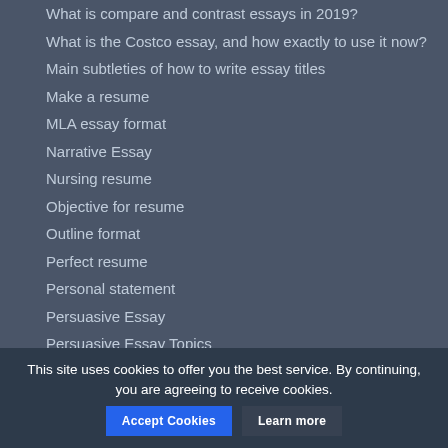Advanced writing of comparative essay
What is compare and contrast essays in 2019?
What is the Costco essay, and how exactly to use it now?
Main subtleties of how to write essay titles
Make a resume
MLA essay format
Narrative Essay
Nursing resume
Objective for resume
Outline format
Perfect resume
Personal statement
Persuasive Essay
Persuasive Essay Topics
This site uses cookies to offer you the best service. By continuing, you are agreeing to receive cookies.